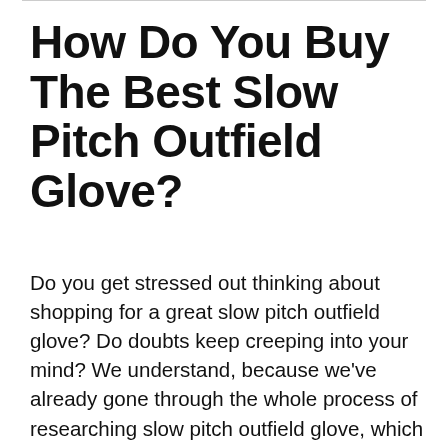How Do You Buy The Best Slow Pitch Outfield Glove?
Do you get stressed out thinking about shopping for a great slow pitch outfield glove? Do doubts keep creeping into your mind? We understand, because we've already gone through the whole process of researching slow pitch outfield glove, which is why we have assembled a comprehensive list of the greatest slow pitch outfield glove available in the current market. We've also